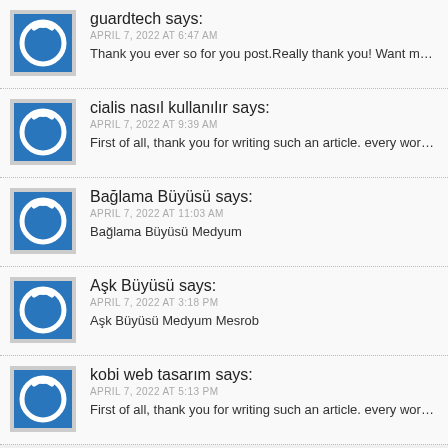guardtech says:
APRIL 7, 2022 AT 6:47 AM
Thank you ever so for you post.Really thank you! Want more.
cialis nasıl kullanılır says:
APRIL 7, 2022 AT 9:39 AM
First of all, thank you for writing such an article. every word is full of
Bağlama Büyüsü says:
APRIL 7, 2022 AT 11:03 AM
Bağlama Büyüsü Medyum
Aşk Büyüsü says:
APRIL 7, 2022 AT 3:18 PM
Aşk Büyüsü Medyum Mesrob
kobi web tasarım says:
APRIL 7, 2022 AT 5:13 PM
First of all, thank you for writing such an article. every word is full of